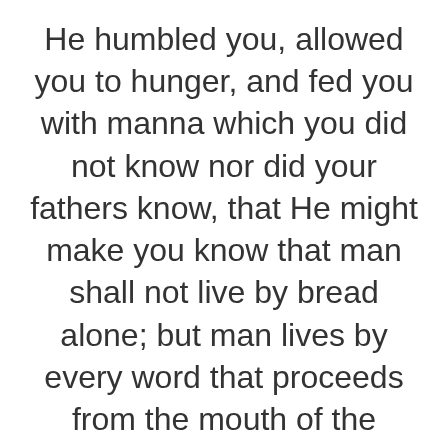He humbled you, allowed you to hunger, and fed you with manna which you did not know nor did your fathers know, that He might make you know that man shall not live by bread alone; but man lives by every word that proceeds from the mouth of the LORD. The secret things belong to the LORD our God, but those things which are revealed belong to us and to our children forever. Do not be called teachers; for One is